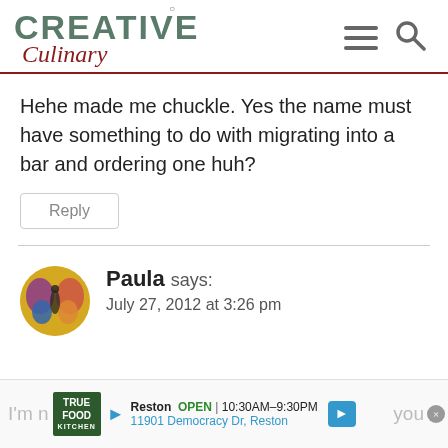[Figure (logo): Creative Culinary logo with teal uppercase CREATIVE and dark red italic Culinary script text]
Hehe made me chuckle. Yes the name must have something to do with migrating into a bar and ordering one huh?
Reply
Paula says:
July 27, 2012 at 3:26 pm
[Figure (photo): Circular avatar photo of a butterfly cookie decoration on yellow background]
I'm n... you... door... utiful